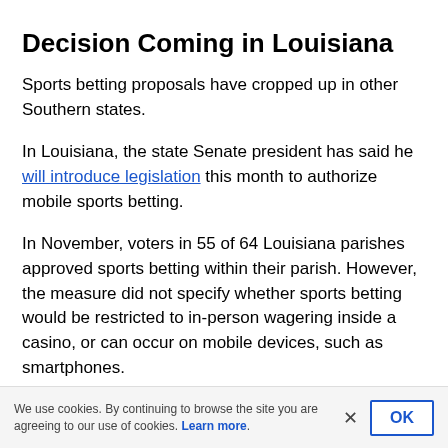Decision Coming in Louisiana
Sports betting proposals have cropped up in other Southern states.
In Louisiana, the state Senate president has said he will introduce legislation this month to authorize mobile sports betting.
In November, voters in 55 of 64 Louisiana parishes approved sports betting within their parish. However, the measure did not specify whether sports betting would be restricted to in-person wagering inside a casino, or can occur on mobile devices, such as smartphones.
We use cookies. By continuing to browse the site you are agreeing to our use of cookies. Learn more.